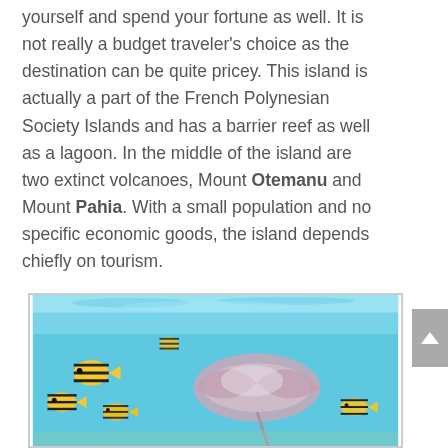yourself and spend your fortune as well. It is not really a budget traveler's choice as the destination can be quite pricey. This island is actually a part of the French Polynesian Society Islands and has a barrier reef as well as a lagoon. In the middle of the island are two extinct volcanoes, Mount Otemanu and Mount Pahia. With a small population and no specific economic goods, the island depends chiefly on tourism.
[Figure (photo): Underwater scene showing a stingray and tropical fish (black and yellow striped) swimming in clear turquoise blue water near the surface.]